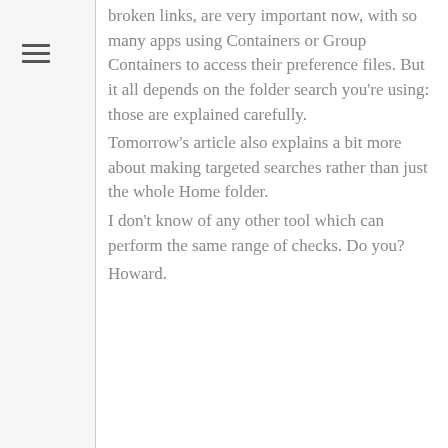broken links, are very important now, with so many apps using Containers or Group Containers to access their preference files. But it all depends on the folder search you're using: those are explained carefully.
Tomorrow's article also explains a bit more about making targeted searches rather than just the whole Home folder.
I don't know of any other tool which can perform the same range of checks. Do you?
Howard.